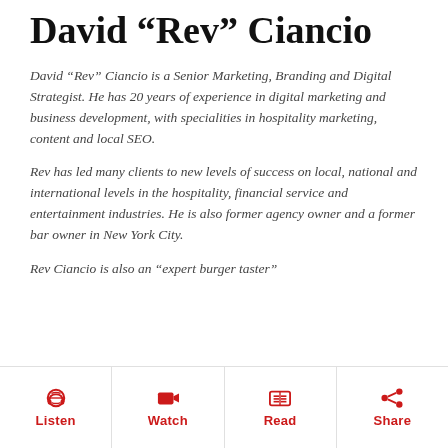David “Rev” Ciancio
David “Rev” Ciancio is a Senior Marketing, Branding and Digital Strategist. He has 20 years of experience in digital marketing and business development, with specialities in hospitality marketing, content and local SEO.
Rev has led many clients to new levels of success on local, national and international levels in the hospitality, financial service and entertainment industries. He is also former agency owner and a former bar owner in New York City.
Rev Ciancio is also an “expert burger taster”
Listen | Watch | Read | Share